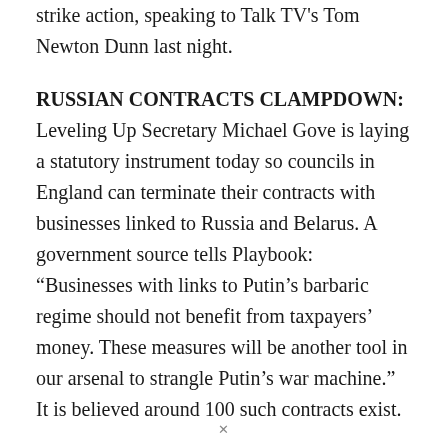strike action, speaking to Talk TV's Tom Newton Dunn last night.
RUSSIAN CONTRACTS CLAMPDOWN: Leveling Up Secretary Michael Gove is laying a statutory instrument today so councils in England can terminate their contracts with businesses linked to Russia and Belarus. A government source tells Playbook: “Businesses with links to Putin’s barbaric regime should not benefit from taxpayers’ money. These measures will be another tool in our arsenal to strangle Putin’s war machine.” It is believed around 100 such contracts exist.